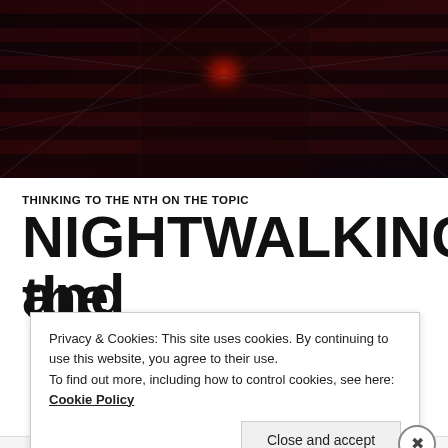[Figure (photo): Dark artistic photo with red flowers/explosion effect and American flag stripes, overlaid with geometric line patterns on a dark red/black background]
THINKING TO THE NTH ON THE TOPIC
NIGHTWALKING and
the PROUSTIAN
Privacy & Cookies: This site uses cookies. By continuing to use this website, you agree to their use.
To find out more, including how to control cookies, see here: Cookie Policy
Close and accept
Advertisements